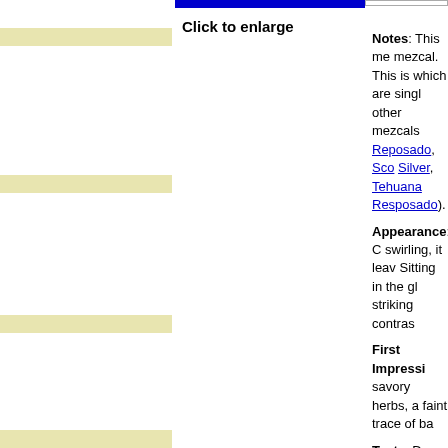Click to enlarge
Notes: This mezcal. This is which are single other mezcals Reposado, Sco Silver, Tehuana Resposado).
Appearance: swirling, it leav Sitting in the gl striking contras
First Impressi savory herbs, a faint trace of ba
Taste: Dry and dry smoke, alm whispers down considering the campfire, this i
Drinks: Despit